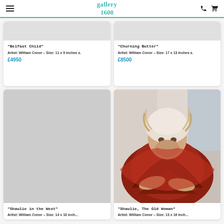gallery 1608
"Belfast Child"
Artist: William Conor – Size: 11 x 9 inches s.
£4950
"Churning Butter"
Artist: William Conor – Size: 17 x 13 inches s.
£8500
[Figure (illustration): Painting of Shawlie in the West by William Conor, placeholder/blank area shown]
"Shawlie in the West"
Artist: William Conor – Size:...
[Figure (illustration): Painting of Shawlie The Old Woman by William Conor - a figure in red shawl, impressionist style]
"Shawlie, The Old Woman"
Artist: William Conor – Size: 13 x 16 inch...